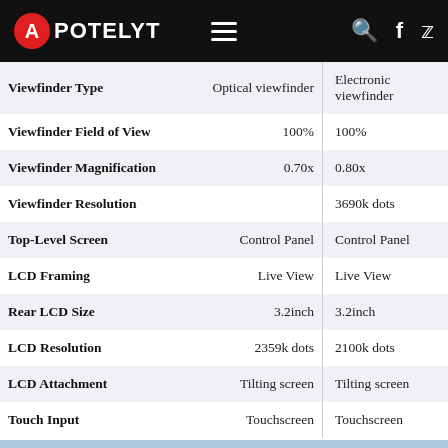APOTELYT
|  | Optical viewfinder | Electronic viewfinder |
| --- | --- | --- |
| Viewfinder Type | Optical viewfinder | Electronic viewfinder |
| Viewfinder Field of View | 100% | 100% |
| Viewfinder Magnification | 0.70x | 0.80x |
| Viewfinder Resolution |  | 3690k dots |
| Top-Level Screen | Control Panel | Control Panel |
| LCD Framing | Live View | Live View |
| Rear LCD Size | 3.2inch | 3.2inch |
| LCD Resolution | 2359k dots | 2100k dots |
| LCD Attachment | Tilting screen | Tilting screen |
| Touch Input | Touchscreen | Touchscreen |